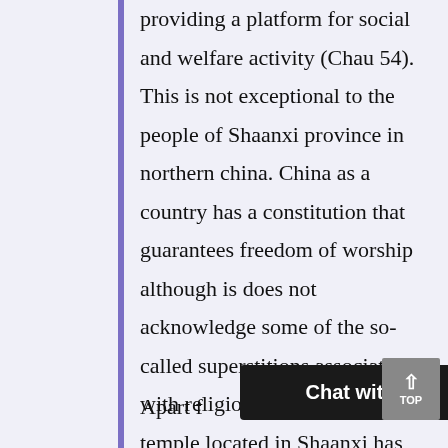providing a platform for social and welfare activity (Chau 54). This is not exceptional to the people of Shaanxi province in northern china. China as a country has a constitution that guarantees freedom of worship although is does not acknowledge some of the so-called superstitions associated with religion. The black dragon temple located in Shaanxi has numerous roles that it serves to the community (Leng and Zhu 97).
Apart f[rom] [a]l[l]